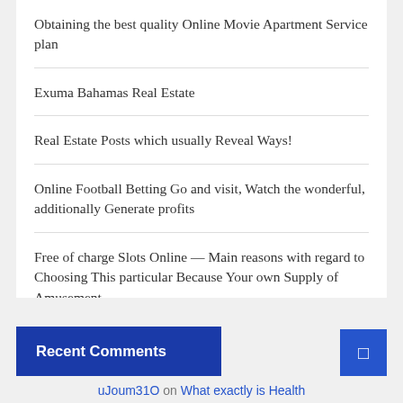Obtaining the best quality Online Movie Apartment Service plan
Exuma Bahamas Real Estate
Real Estate Posts which usually Reveal Ways!
Online Football Betting Go and visit, Watch the wonderful, additionally Generate profits
Free of charge Slots Online — Main reasons with regard to Choosing This particular Because Your own Supply of Amusement
Recent Comments
uJoum31O on What exactly is Health